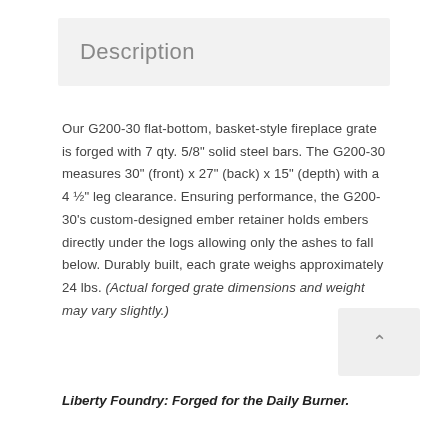Description
Our G200-30 flat-bottom, basket-style fireplace grate is forged with 7 qty. 5/8" solid steel bars. The G200-30 measures 30" (front) x 27" (back) x 15" (depth) with a 4 ½" leg clearance. Ensuring performance, the G200-30's custom-designed ember retainer holds embers directly under the logs allowing only the ashes to fall below. Durably built, each grate weighs approximately 24 lbs. (Actual forged grate dimensions and weight may vary slightly.)
Liberty Foundry: Forged for the Daily Burner.